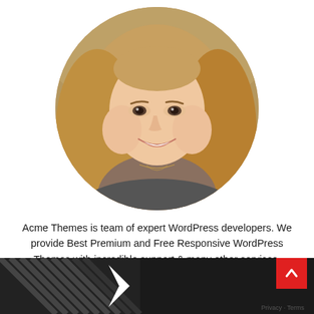[Figure (photo): Circular cropped portrait photo of a smiling blonde woman with wavy hair, wearing a dark gray top and a thin gold necklace, photographed outdoors.]
Acme Themes is team of expert WordPress developers. We provide Best Premium and Free Responsive WordPress Themes with incredible support & many other services.
ADVERTISEMENT
[Figure (photo): Advertisement banner image showing a dark background with graphic elements on the left and a woman wearing glasses on the right side.]